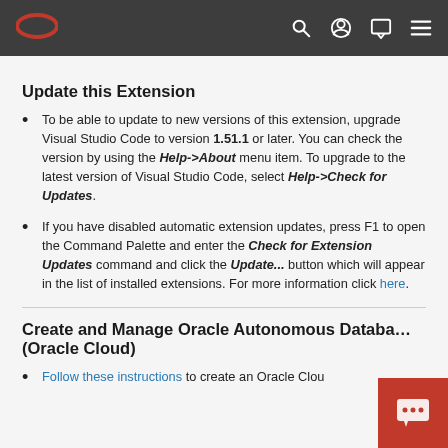Oracle [logo] navigation bar
Update this Extension
To be able to update to new versions of this extension, upgrade Visual Studio Code to version 1.51.1 or later. You can check the version by using the Help->About menu item. To upgrade to the latest version of Visual Studio Code, select Help->Check for Updates.
If you have disabled automatic extension updates, press F1 to open the Command Palette and enter the Check for Extension Updates command and click the Update... button which will appear in the list of installed extensions. For more information click here.
Create and Manage Oracle Autonomous Database (Oracle Cloud)
Follow these instructions to create an Oracle Clou…